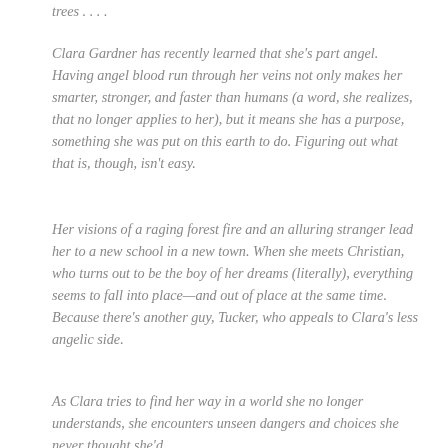trees . . . .
Clara Gardner has recently learned that she's part angel. Having angel blood run through her veins not only makes her smarter, stronger, and faster than humans (a word, she realizes, that no longer applies to her), but it means she has a purpose, something she was put on this earth to do. Figuring out what that is, though, isn't easy.
Her visions of a raging forest fire and an alluring stranger lead her to a new school in a new town. When she meets Christian, who turns out to be the boy of her dreams (literally), everything seems to fall into place—and out of place at the same time. Because there's another guy, Tucker, who appeals to Clara's less angelic side.
As Clara tries to find her way in a world she no longer understands, she encounters unseen dangers and choices she never thought she'd